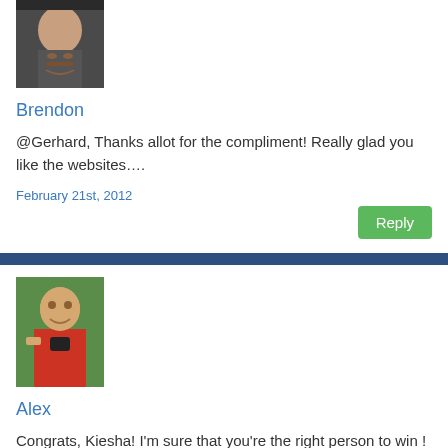[Figure (photo): Profile photo of Brendon - man with mustache, partial face visible]
Brendon
@Gerhard, Thanks allot for the compliment! Really glad you like the websites….
February 21st, 2012
[Figure (photo): Profile photo of Alex - man in red shirt holding something, outdoors with green background]
Alex
Congrats, Kiesha! I'm sure that you're the right person to win ! 🙂 Why is that? Well, I just found your blog the other day and I'm loving it now. I like your attitude towards every single post and comment. And I know